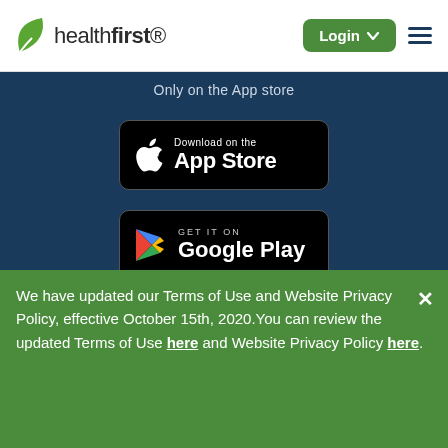healthfirst
Only on the App store
[Figure (logo): Download on the App Store badge (black rounded rectangle with Apple logo and text 'Download on the App Store')]
[Figure (logo): GET IT ON Google Play badge (black rounded rectangle with Google Play triangle logo and text 'GET IT ON Google Play')]
Download Healthfirst NY Mobile App. Apple® and Apple logo®
We have updated our Terms of Use and Website Privacy Policy, effective October 15th, 2020.You can review the updated Terms of Use here and Website Privacy Policy here.